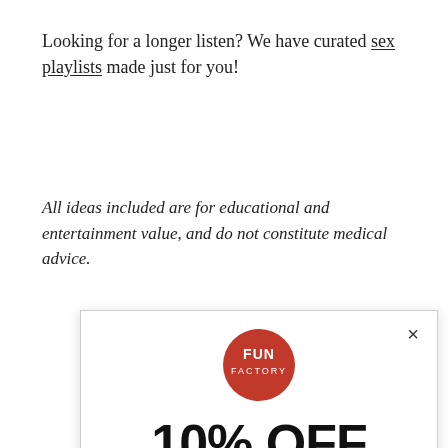Looking for a longer listen? We have curated sex playlists made just for you!
All ideas included are for educational and entertainment value, and do not constitute medical advice.
[Figure (screenshot): A modal popup from Fun Factory showing '10% OFF YOUR PURCHASE' with an email input field and a close button. Features the Fun Factory red circular logo at the top.]